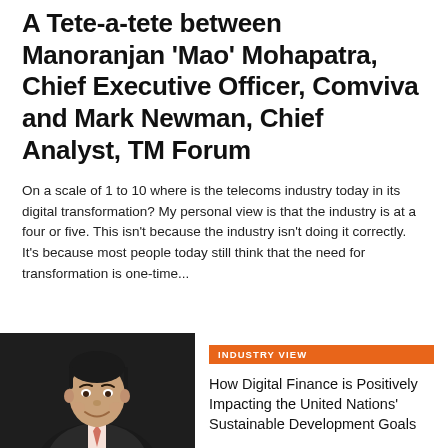A Tete-a-tete between Manoranjan 'Mao' Mohapatra, Chief Executive Officer, Comviva and Mark Newman, Chief Analyst, TM Forum
On a scale of 1 to 10 where is the telecoms industry today in its digital transformation? My personal view is that the industry is at a four or five. This isn't because the industry isn't doing it correctly. It's because most people today still think that the need for transformation is one-time...
[Figure (photo): Headshot of a man in a dark suit with a light pink tie, smiling, on a dark background]
INDUSTRY VIEW
How Digital Finance is Positively Impacting the United Nations' Sustainable Development Goals